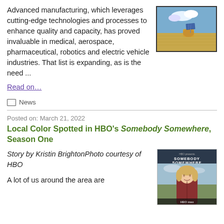Advanced manufacturing, which leverages cutting-edge technologies and processes to enhance quality and capacity, has proved invaluable in medical, aerospace, pharmaceutical, robotics and electric vehicle industries. That list is expanding, as is the need ...
[Figure (photo): Solar panel on a hay bale in a golden wheat field under blue sky]
Read on...
News
Posted on: March 21, 2022
Local Color Spotted in HBO's Somebody Somewhere, Season One
Story by Kristin BrightonPhoto courtesy of HBO
A lot of us around the area are
[Figure (photo): HBO Max promotional poster for 'Somebody Somewhere' showing a woman outdoors]